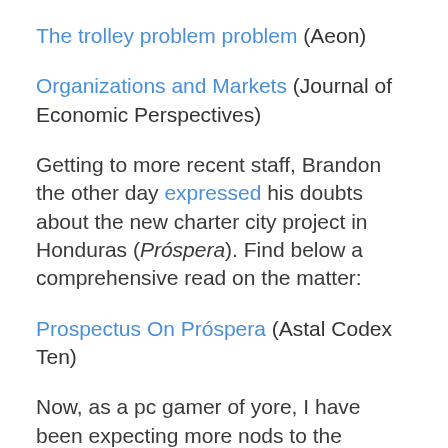The trolley problem problem (Aeon)
Organizations and Markets (Journal of Economic Perspectives)
Getting to more recent staff, Brandon the other day expressed his doubts about the new charter city project in Honduras (Próspera). Find below a comprehensive read on the matter:
Prospectus On Próspera (Astal Codex Ten)
Now, as a pc gamer of yore, I have been expecting more nods to the underwater city of Rapture from the Bioshock game series, maybe. Rapture was a utopia free